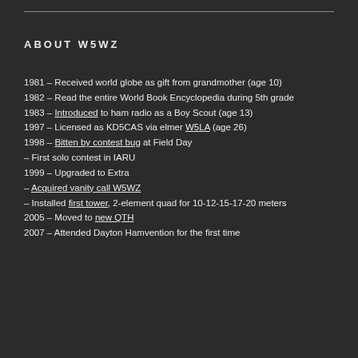ABOUT W5WZ
1981 – Received world globe as gift from grandmother (age 10)
1982 – Read the entire World Book Encyclopedia during 5th grade
1983 – Introduced to ham radio as a Boy Scout (age 13)
1997 – Licensed as KD5CAS via elmer W5LA (age 26)
1998 – Bitten by contest bug at Field Day
– First solo contest in IARU
1999 – Upgraded to Extra
– Acquired vanity call W5WZ
– Installed first tower, 2-element quad for 10-12-15-17-20 meters
2005 – Moved to new QTH
2007 – Attended Dayton Hamvention for the first time